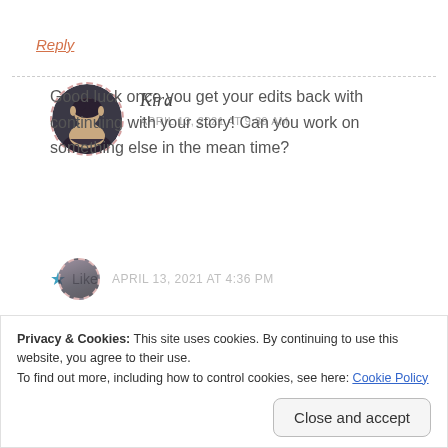Reply
[Figure (photo): Circular avatar photo of a person with dark hair against dark background, bordered with dashed pink circle]
Kira
APRIL 13, 2021 AT 9:39 AM
Good luck once you get your edits back with continuing with your story! Can you work on something else in the mean time?
Like
Privacy & Cookies: This site uses cookies. By continuing to use this website, you agree to their use.
To find out more, including how to control cookies, see here: Cookie Policy
Close and accept
APRIL 13, 2021 AT 4:36 PM